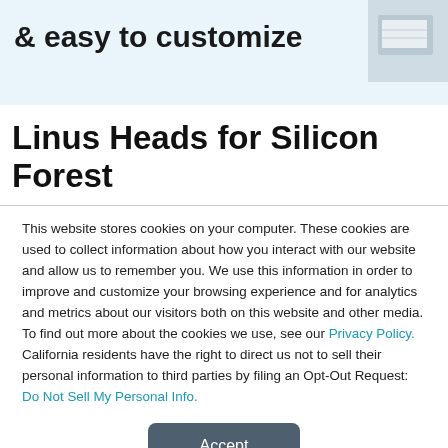& easy to customize
Linus Heads for Silicon Forest
This website stores cookies on your computer. These cookies are used to collect information about how you interact with our website and allow us to remember you. We use this information in order to improve and customize your browsing experience and for analytics and metrics about our visitors both on this website and other media. To find out more about the cookies we use, see our Privacy Policy. California residents have the right to direct us not to sell their personal information to third parties by filing an Opt-Out Request: Do Not Sell My Personal Info.